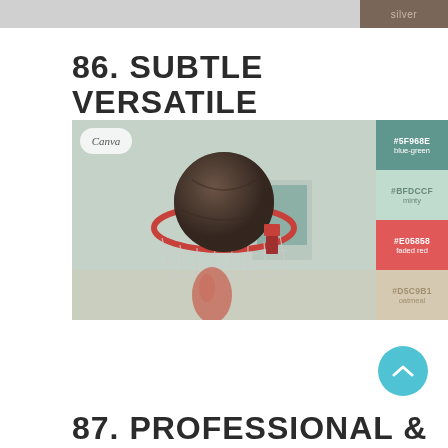[Figure (other): Top color bar: wide silver/gray strip on the left, dark brown strip on the right labeled 'silver']
86. SUBTLE & VERSATILE
[Figure (photo): Basketball going through a hoop viewed from below, with a color palette overlay showing hex colors: #5F968E blue-green, #BFDCCF minty, #E05858 faded red, #D5C9B1 oatmeal]
87. PROFESSIONAL &